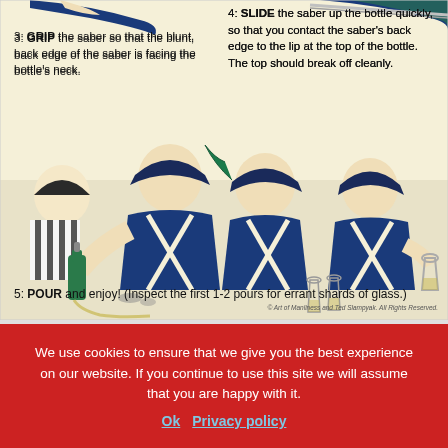[Figure (illustration): Comic-style illustration showing steps to open a champagne bottle with a saber. Shows soldiers in Napoleonic-era uniforms pouring champagne. Step 3 shows gripping the saber, Step 4 shows sliding the saber up, Step 5 shows pouring. Drawn in a retro comic style with blue, cream, and black colors.]
3: GRIP the saber so that the blunt, back edge of the saber is facing the bottle's neck.
4: SLIDE the saber up the bottle quickly, so that you contact the saber's back edge to the lip at the top of the bottle. The top should break off cleanly.
5: POUR and enjoy! (Inspect the first 1-2 pours for errant shards of glass.)
© Art of Manliness and Ted Slampyak. All Rights Reserved.
We use cookies to ensure that we give you the best experience on our website. If you continue to use this site we will assume that you are happy with it.
Ok   Privacy policy